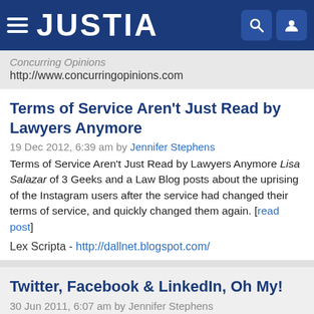JUSTIA
Concurring Opinions
http://www.concurringopinions.com
Terms of Service Aren't Just Read by Lawyers Anymore
19 Dec 2012, 6:39 am by Jennifer Stephens
Terms of Service Aren't Just Read by Lawyers Anymore Lisa Salazar of 3 Geeks and a Law Blog posts about the uprising of the Instagram users after the service had changed their terms of service, and quickly changed them again. [read post]
Lex Scripta - http://dallnet.blogspot.com/
Twitter, Facebook & LinkedIn, Oh My!
30 Jun 2011, 6:07 am by Jennifer Stephens